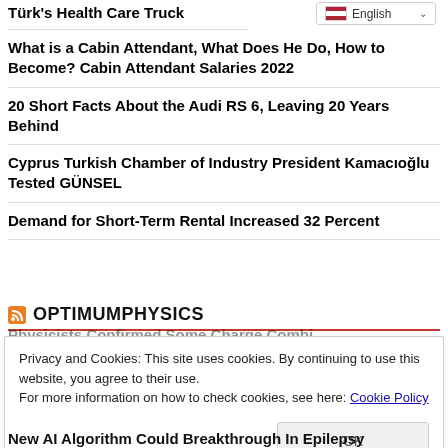Türk's Health Care Truck
English
What is a Cabin Attendant, What Does He Do, How to Become? Cabin Attendant Salaries 2022
20 Short Facts About the Audi RS 6, Leaving 20 Years Behind
Cyprus Turkish Chamber of Industry President Kamacıoğlu Tested GÜNSEL
Demand for Short-Term Rental Increased 32 Percent
OPTIMUMPHYSICS
Privacy and Cookies: This site uses cookies. By continuing to use this website, you agree to their use.
For more information on how to check cookies, see here: Cookie Policy
New AI Algorithm Could Breakthrough In Epilepsy